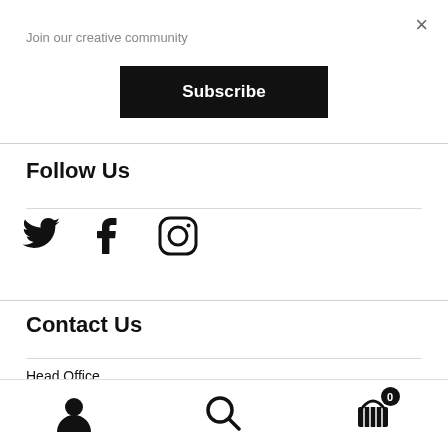×
Join our creative community
Subscribe
Follow Us
[Figure (illustration): Twitter, Facebook, and Instagram social media icons in black]
Contact Us
Head Office
Press
[Figure (illustration): Bottom navigation bar with user/account icon, search icon, and shopping basket icon with badge showing 0]